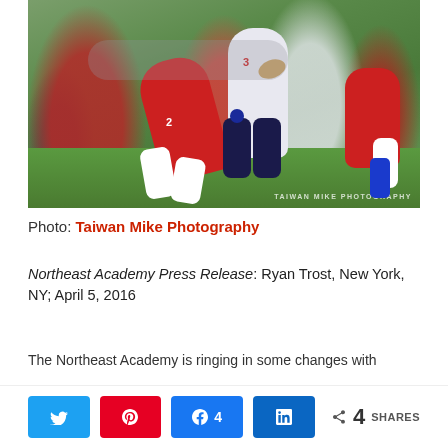[Figure (photo): Women's rugby match action photo showing players tackling. A player in a red jersey numbered 2 tackles a player in white and blue holding a rugby ball. Other players visible on a grass field. Watermark reads 'TAIWAN MIKE PHOTOGRAPHY' in bottom right corner.]
Photo: Taiwan Mike Photography
Northeast Academy Press Release: Ryan Trost, New York, NY; April 5, 2016
The Northeast Academy is ringing in some changes with
4 SHARES | Twitter share | Pinterest share | Facebook share 4 | LinkedIn share